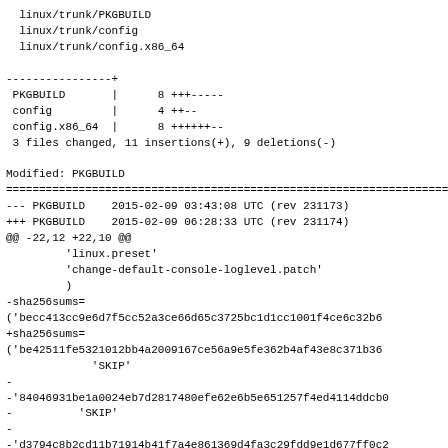linux/trunk/PKGBUILD
  linux/trunk/config
  linux/trunk/config.x86_64
----------------+
 PKGBUILD       |      8 +++-----
 config         |      4 ++--
 config.x86_64  |      8 ++++++--
 3 files changed, 11 insertions(+), 9 deletions(-)
Modified: PKGBUILD
======================================================================
--- PKGBUILD    2015-02-09 03:43:08 UTC (rev 231173)
+++ PKGBUILD    2015-02-09 06:28:33 UTC (rev 231174)
@@ -22,12 +22,10 @@
         'linux.preset'
         'change-default-console-loglevel.patch'
         )
-sha256sums=
('becc413cc9e6d7f5cc52a3ce66d65c3725bc1d1cc1001f4ce6c32b6
+sha256sums=
('be42511fe5321012bb4a2009167ce56a9e5fe362b4af43e8c371b36
             'SKIP'
-
-'84046931be1a0024eb7d2817480efe62e6b5e651257f4ed4114ddcb0
-          'SKIP'
-
-'d3794c8b2cd11b71914b41f7a4e861369d4fa3c29fdd9e1d677ff0c2
-
-'df7886f5d57f8f85e89987066dfa5c316e922dc0b22e6e6ad0133133